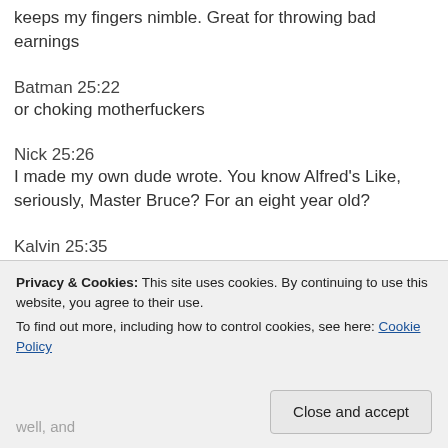keeps my fingers nimble. Great for throwing bad earnings
Batman 25:22
or choking motherfuckers
Nick 25:26
I made my own dude wrote. You know Alfred's Like, seriously, Master Bruce? For an eight year old?
Kalvin 25:35
Privacy & Cookies: This site uses cookies. By continuing to use this website, you agree to their use.
To find out more, including how to control cookies, see here: Cookie Policy
Close and accept